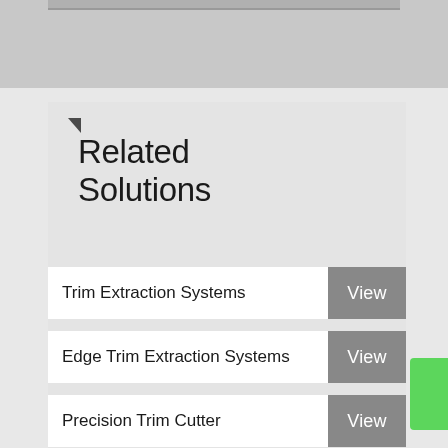[Figure (photo): Top portion of a photo/image partially visible at top of page]
Related Solutions
Trim Extraction Systems  View
Edge Trim Extraction Systems  View
Precision Trim Cutter  View
Dust Control Systems  View